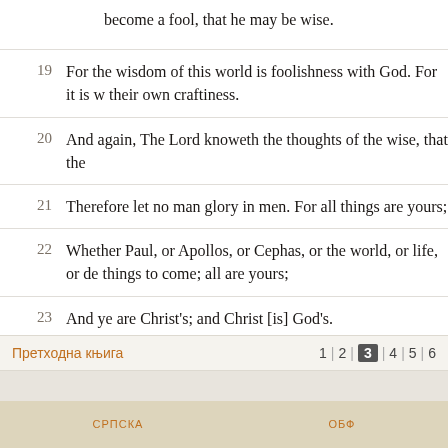become a fool, that he may be wise.
19 For the wisdom of this world is foolishness with God. For it is w... their own craftiness.
20 And again, The Lord knoweth the thoughts of the wise, that the...
21 Therefore let no man glory in men. For all things are yours;
22 Whether Paul, or Apollos, or Cephas, or the world, or life, or de... things to come; all are yours;
23 And ye are Christ's; and Christ [is] God's.
Претходна књига  1 | 2 | 3 | 4 | 5 | 6
СРПСКА  ОБФ